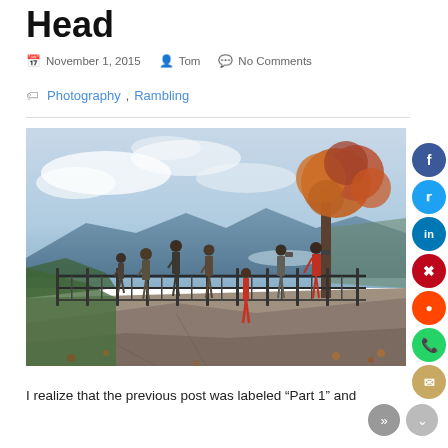Head
November 1, 2015   Tom   No Comments
Photography, Rambling
[Figure (photo): People standing on a rocky mountain overlook behind a metal fence railing, with an autumn tree and panoramic mountain valley view under a cloudy sky.]
I realize that the previous post was labeled “Part 1” and